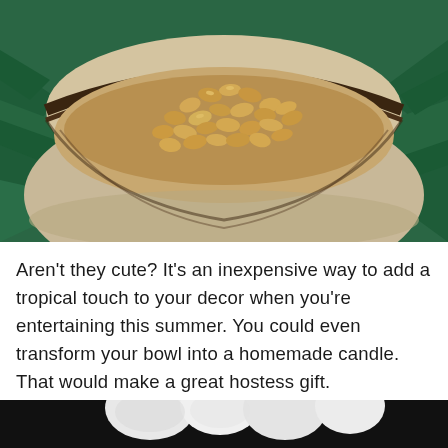[Figure (photo): A coconut shell bowl filled with roasted peanuts/cashews, sitting on a bed of green tropical leaves. The bowl is light beige/tan on the outside with a dark brown rim, and the interior shows golden-brown nuts. Background is deep teal/green from palm or tropical leaves.]
Aren't they cute?  It's an inexpensive way to add a tropical touch to your decor when you're entertaining this summer.  You could even transform your bowl into a homemade candle.  That would make a great hostess gift.
[Figure (photo): Bottom partial image showing white rounded objects (possibly candles or stones) against a dark background.]